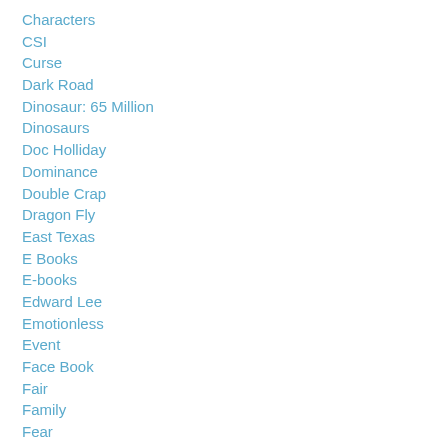Characters
CSI
Curse
Dark Road
Dinosaur: 65 Million
Dinosaurs
Doc Holliday
Dominance
Double Crap
Dragon Fly
East Texas
E Books
E-books
Edward Lee
Emotionless
Event
Face Book
Fair
Family
Fear